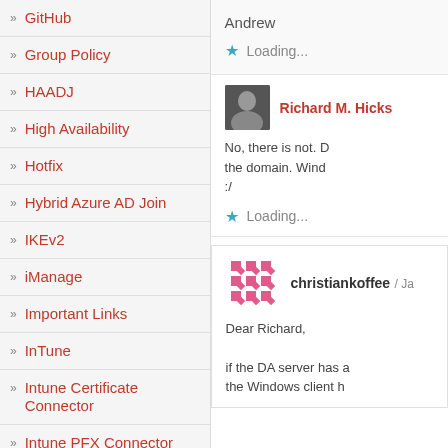» GitHub
» Group Policy
» HAADJ
» High Availability
» Hotfix
» Hybrid Azure AD Join
» IKEv2
» iManage
» Important Links
» InTune
» Intune Certificate Connector
» Intune PFX Connector
Andrew
Loading...
Richard M. Hicks
No, there is not. D the domain. Wind :/
Loading...
christiankoffee / Ja
Dear Richard,
if the DA server has a the Windows client h